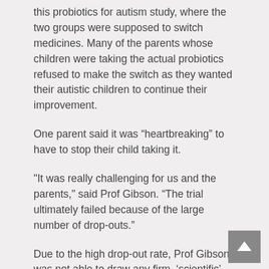this probiotics for autism study, where the two groups were supposed to switch medicines. Many of the parents whose children were taking the actual probiotics refused to make the switch as they wanted their autistic children to continue their improvement.
One parent said it was “heartbreaking” to have to stop their child taking it.
"It was really challenging for us and the parents," said Prof Gibson. “The trial ultimately failed because of the large number of drop-outs.”
Due to the high drop-out rate, Prof Gibson was not able to draw any firm, ‘scientific’ conclusion from his probiotics for autism study. Prof Gibson noted, however, that autistic children often suffer bowel conditions and a previous study had found high